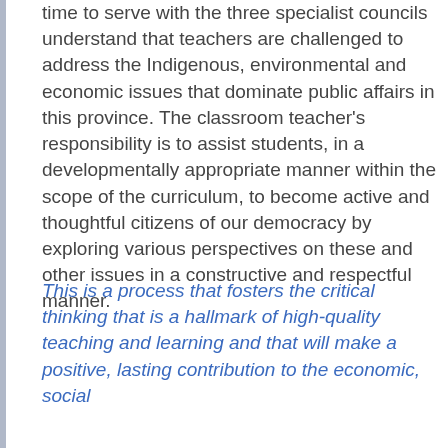The teachers who have volunteered their time to serve with the three specialist councils understand that teachers are challenged to address the Indigenous, environmental and economic issues that dominate public affairs in this province. The classroom teacher's responsibility is to assist students, in a developmentally appropriate manner within the scope of the curriculum, to become active and thoughtful citizens of our democracy by exploring various perspectives on these and other issues in a constructive and respectful manner.
This is a process that fosters the critical thinking that is a hallmark of high-quality teaching and learning and that will make a positive, lasting contribution to the economic, social